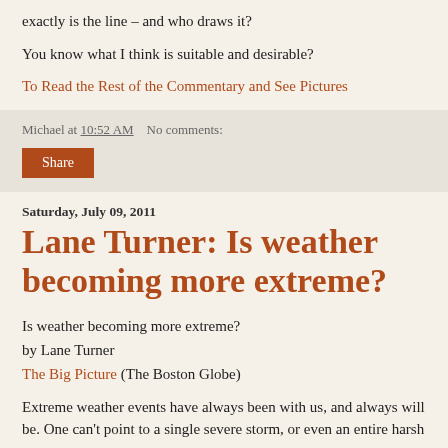exactly is the line – and who draws it?
You know what I think is suitable and desirable?
To Read the Rest of the Commentary and See Pictures
Michael at 10:52 AM    No comments:
Share
Saturday, July 09, 2011
Lane Turner: Is weather becoming more extreme?
Is weather becoming more extreme?
by Lane Turner
The Big Picture (The Boston Globe)
Extreme weather events have always been with us, and always will be. One can't point to a single severe storm, or even an entire harsh season, as evidence of climate change. For example, from the